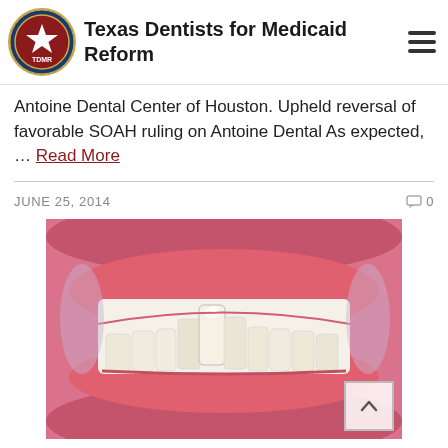Texas Dentists for Medicaid Reform
Antoine Dental Center of Houston. Upheld reversal of favorable SOAH ruling on Antoine Dental As expected, … Read More
JUNE 25, 2014    0
[Figure (photo): Close-up dental photograph showing teeth with crowding and a dental crown, surrounded by pink gum tissue and lips held open with dental retractors.]